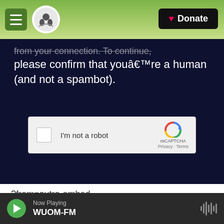[Figure (screenshot): Website navigation bar with hamburger menu, organization logo circle, and Donate button]
from your connection. To continue, please confirm that youâ€™re a human (and not a spambot).
[Figure (screenshot): reCAPTCHA widget with checkbox labeled I'm not a robot and reCAPTCHA logo with Privacy - Terms links]
?from=outro-embed
Thirty percent of New Mexico's children live in poverty - the highest rate in the United States. One
[Figure (screenshot): Audio player bar at bottom showing Now Playing WUOM-FM with play button and waveform icon]